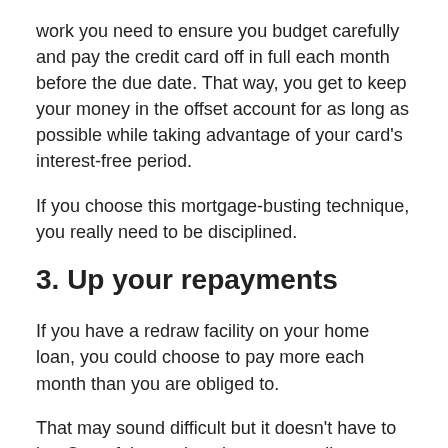work you need to ensure you budget carefully and pay the credit card off in full each month before the due date. That way, you get to keep your money in the offset account for as long as possible while taking advantage of your card's interest-free period.
If you choose this mortgage-busting technique, you really need to be disciplined.
3. Up your repayments
If you have a redraw facility on your home loan, you could choose to pay more each month than you are obliged to.
That may sound difficult but it doesn't have to be. One of the easiest times to contribute extra is if you find yourself earning more or spending less. For instance, if you receive a pay rise, you could choose to contribute some or all of the extra money towards your mortgage. Alternatively, if interest rates fall, you could consider